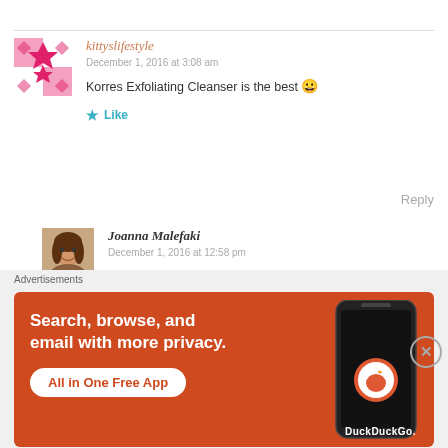[Figure (illustration): Avatar image for kittyslifestyle — pink and white geometric/quilt-style pattern logo]
kittyslifestyle
December 1, 2016 at 3:08 am
Korres Exfoliating Cleanser is the best 😀
★ Like
Reply
[Figure (photo): Profile photo of Joanna Malefaki — woman with dark hair]
Joanna Malefaki
December 1, 2016 at 12:58 pm
Advertisements
[Figure (screenshot): DuckDuckGo advertisement banner: 'Search, browse, and email with more privacy. All in One Free App' with phone mockup and DuckDuckGo logo]